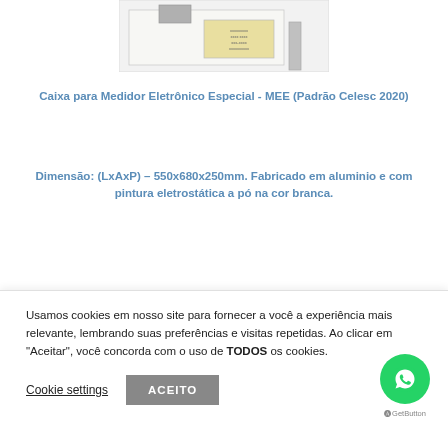[Figure (photo): Partial product photo of an electrical meter box/casing, showing a beige label and grey side panel against a white/light background.]
Caixa para Medidor Eletrônico Especial - MEE (Padrão Celesc 2020)
Dimensão: (LxAxP) – 550x680x250mm. Fabricado em aluminio e com pintura eletrostática a pó na cor branca.
Passamento contos 30x5x300mm, dois parafusos MC...
Usamos cookies em nosso site para fornecer a você a experiência mais relevante, lembrando suas preferências e visitas repetidas. Ao clicar em "Aceitar", você concorda com o uso de TODOS os cookies.
Cookie settings
ACEITO